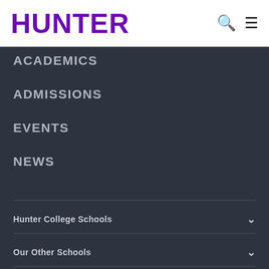[Figure (logo): Hunter College logo - bold purple text HUNTER]
ACADEMICS
ADMISSIONS
EVENTS
NEWS
Hunter College Schools
Our Other Schools